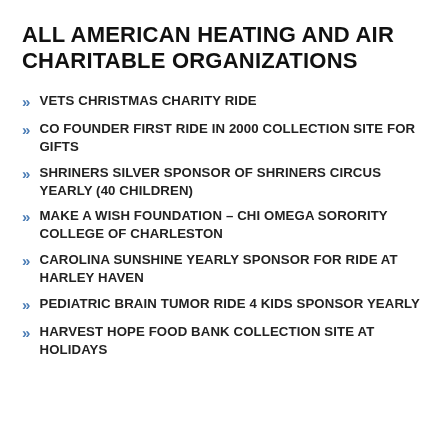ALL AMERICAN HEATING AND AIR CHARITABLE ORGANIZATIONS
VETS CHRISTMAS CHARITY RIDE
CO FOUNDER FIRST RIDE IN 2000 COLLECTION SITE FOR GIFTS
SHRINERS SILVER SPONSOR OF SHRINERS CIRCUS YEARLY (40 CHILDREN)
MAKE A WISH FOUNDATION – CHI OMEGA SORORITY COLLEGE OF CHARLESTON
CAROLINA SUNSHINE YEARLY SPONSOR FOR RIDE AT HARLEY HAVEN
PEDIATRIC BRAIN TUMOR RIDE 4 KIDS SPONSOR YEARLY
HARVEST HOPE FOOD BANK COLLECTION SITE AT HOLIDAYS